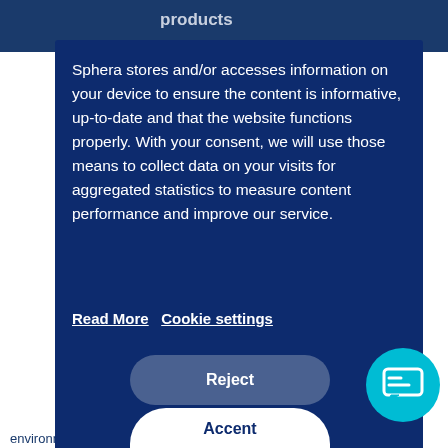products
Sphera stores and/or accesses information on your device to ensure the content is informative, up-to-date and that the website functions properly. With your consent, we will use those means to collect data on your visits for aggregated statistics to measure content performance and improve our service.
Read More   Cookie settings
Reject
Accent
environmental impact.  Therefore, they